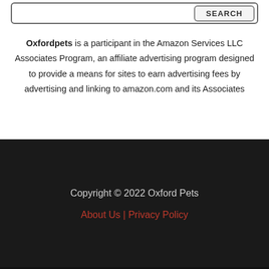[Figure (screenshot): Partial search bar with SEARCH button visible at top of page]
Oxfordpets is a participant in the Amazon Services LLC Associates Program, an affiliate advertising program designed to provide a means for sites to earn advertising fees by advertising and linking to amazon.com and its Associates
Copyright © 2022 Oxford Pets | About Us | Privacy Policy